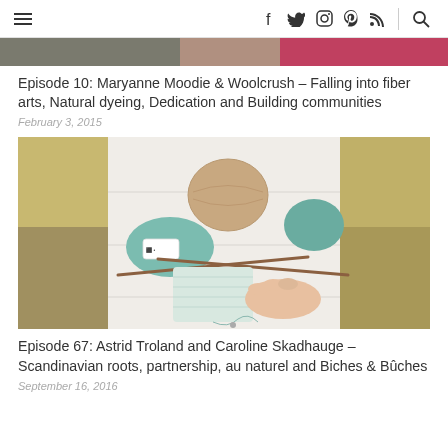Navigation header with hamburger menu and social icons: facebook, twitter, instagram, pinterest, rss, search
[Figure (photo): Partial top image showing a colorful photo strip of fiber arts content]
Episode 10: Maryanne Moodie & Woolcrush – Falling into fiber arts, Natural dyeing, Dedication and Building communities
February 3, 2015
[Figure (photo): Photo of yarn balls and knitting needles with a small knitted swatch on a white wooden surface, with meadow landscape visible on sides]
Episode 67: Astrid Troland and Caroline Skadhauge – Scandinavian roots, partnership, au naturel and Biches & Bûches
September 16, 2016